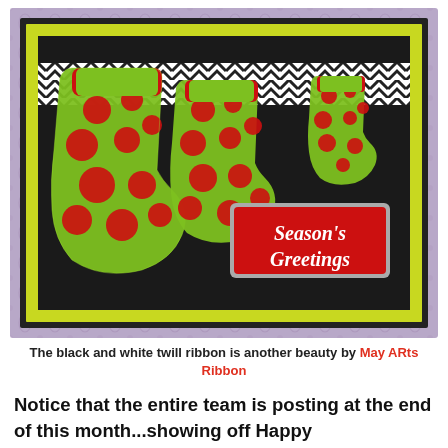[Figure (photo): A Christmas card craft photo showing three Christmas stockings decorated with green glitter and red polka dots, hanging in front of a black background with a yellow-green border and black outer frame. A black and white chevron/twill ribbon runs across the top. A red tag in the lower right reads 'Season's Greetings' in white script. The background has a purple damask pattern.]
The black and white twill ribbon is another beauty by May ARts Ribbon
Notice that the entire team is posting at the end of this month...showing off Happy Hallowthanksmas. Would love it if you took time to see what they have been up to